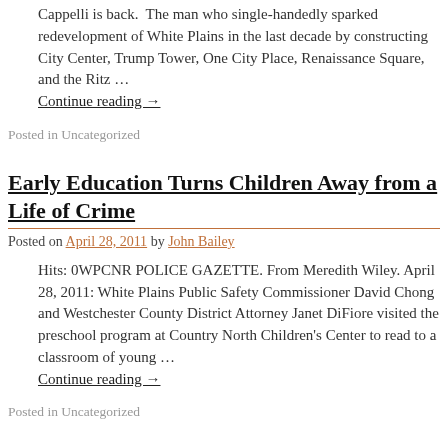Cappelli is back. The man who single-handedly sparked redevelopment of White Plains in the last decade by constructing City Center, Trump Tower, One City Place, Renaissance Square, and the Ritz … Continue reading →
Posted in Uncategorized
Early Education Turns Children Away from a Life of Crime
Posted on April 28, 2011 by John Bailey
Hits: 0WPCNR POLICE GAZETTE. From Meredith Wiley. April 28, 2011: White Plains Public Safety Commissioner David Chong and Westchester County District Attorney Janet DiFiore visited the preschool program at Country North Children's Center to read to a classroom of young … Continue reading →
Posted in Uncategorized
John Martin Appointed to Council. Boykin Named Council Prez Over Objections